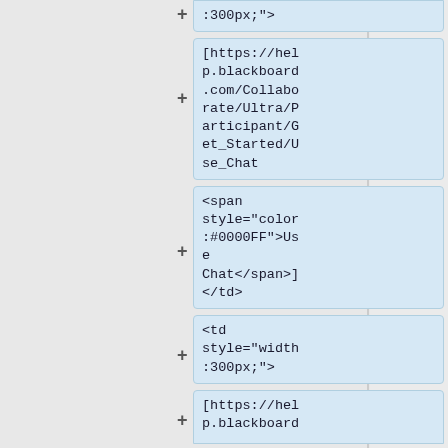:300px;">
[https://hel
p.blackboard
.com/Collabo
rate/Ultra/P
articipant/G
et_Started/U
se_Chat
<span
style="color
:#0000FF">Us
e
Chat</span>]
</td>
<td
style="width
:300px;">
[https://hel
p.blackboard